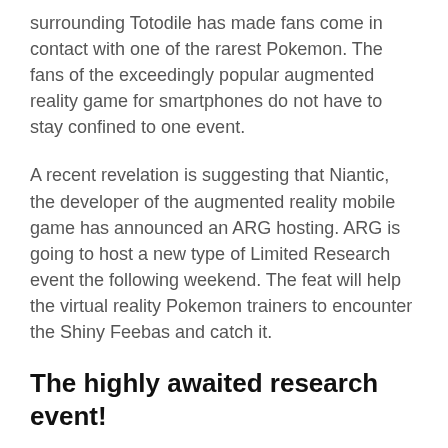surrounding Totodile has made fans come in contact with one of the rarest Pokemon. The fans of the exceedingly popular augmented reality game for smartphones do not have to stay confined to one event.
A recent revelation is suggesting that Niantic, the developer of the augmented reality mobile game has announced an ARG hosting. ARG is going to host a new type of Limited Research event the following weekend. The feat will help the virtual reality Pokemon trainers to encounter the Shiny Feebas and catch it.
The highly awaited research event!